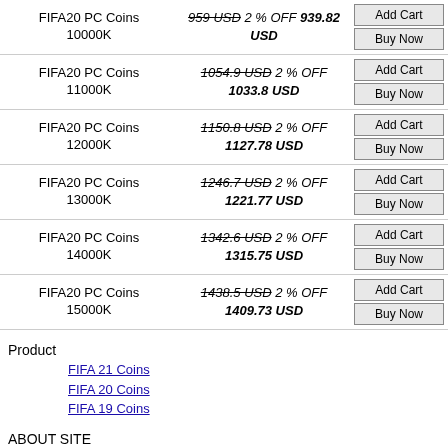| Product | Price | Actions |
| --- | --- | --- |
| FIFA20 PC Coins 10000K | 959 USD 2 % OFF 939.82 USD | Add Cart / Buy Now |
| FIFA20 PC Coins 11000K | 1054.9 USD 2 % OFF 1033.8 USD | Add Cart / Buy Now |
| FIFA20 PC Coins 12000K | 1150.8 USD 2 % OFF 1127.78 USD | Add Cart / Buy Now |
| FIFA20 PC Coins 13000K | 1246.7 USD 2 % OFF 1221.77 USD | Add Cart / Buy Now |
| FIFA20 PC Coins 14000K | 1342.6 USD 2 % OFF 1315.75 USD | Add Cart / Buy Now |
| FIFA20 PC Coins 15000K | 1438.5 USD 2 % OFF 1409.73 USD | Add Cart / Buy Now |
Product
FIFA 21 Coins
FIFA 20 Coins
FIFA 19 Coins
ABOUT SITE
Contact US
About US
Privacy
Cancellations